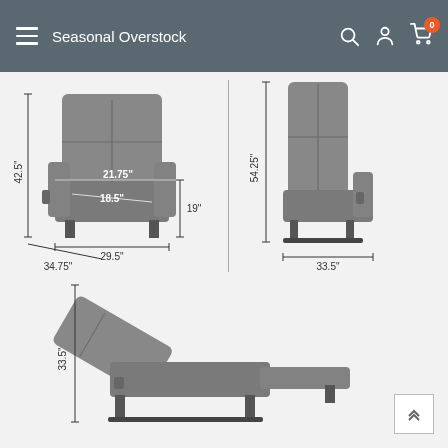Seasonal Overstock
[Figure (illustration): Three-view dimension diagram of a gray recliner chair showing measurements: front view (42.5" height, 34.75" depth, 29.5" width, seat height 19", seat width 18.5", armrest width 21.75"), side reclined view (54.25" height, 33.5" depth), and fully reclined side view (33.5" height).]